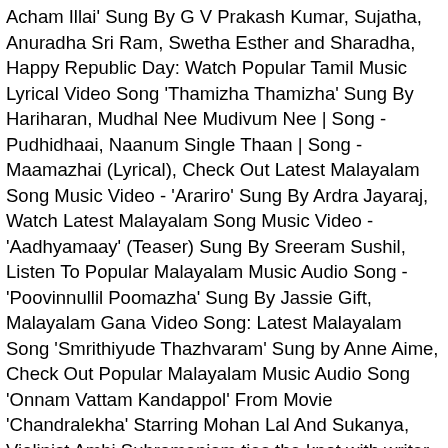Acham Illai' Sung By G V Prakash Kumar, Sujatha, Anuradha Sri Ram, Swetha Esther and Sharadha, Happy Republic Day: Watch Popular Tamil Music Lyrical Video Song 'Thamizha Thamizha' Sung By Hariharan, Mudhal Nee Mudivum Nee | Song - Pudhidhaai, Naanum Single Thaan | Song - Maamazhai (Lyrical), Check Out Latest Malayalam Song Music Video - 'Arariro' Sung By Ardra Jayaraj, Watch Latest Malayalam Song Music Video - 'Aadhyamaay' (Teaser) Sung By Sreeram Sushil, Listen To Popular Malayalam Music Audio Song - 'Poovinnullil Poomazha' Sung By Jassie Gift, Malayalam Gana Video Song: Latest Malayalam Song 'Smrithiyude Thazhvaram' Sung by Anne Aime, Check Out Popular Malayalam Music Audio Song 'Onnam Vattam Kandappol' From Movie 'Chandralekha' Starring Mohan Lal And Sukanya, Violinist Ambi Subramaniam ties the knot with writer Shreya in an intimate ceremony in Mysuru, Vasu Dixit shares his top five favourite music videos of all time, Violinist Sanjeev Nayak shares his five favourite violin compositions, Musician Varun Murali shares five music production tips, Singer Manasi Prasad talks about her musical inspirations, Violinist Jyotsna Srikanth talks about five musicians who've been an inspiration to her, Listen to Popular Bengali Audio Song - 'Tui Ki Amar Putul Putul' Sung By Manna Dey, Listen to Popular Bengali Song (Cover) - 'Ei To Sadin Tumi' Sung By Pratiti